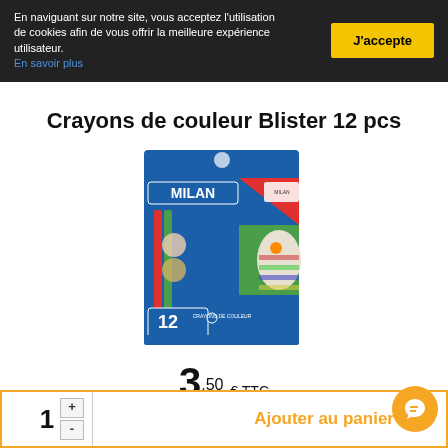En naviguant sur notre site, vous acceptez l'utilisation de cookies afin de vous offrir la meilleure expérience utilisateur. En savoir plus
J'accepte
Crayons de couleur Blister 12 pcs
[Figure (photo): Milan brand blister pack of 12 color pencils]
3,50 € TTC
1  +  -  Ajouter au panier